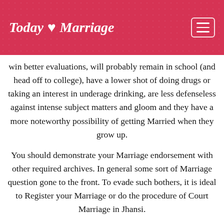Today ♥ Marriage
win better evaluations, will probably remain in school (and head off to college), have a lower shot of doing drugs or taking an interest in underage drinking, are less defenseless against intense subject matters and gloom and they have a more noteworthy possibility of getting Married when they grow up.
You should demonstrate your Marriage endorsement with other required archives. In general some sort of Marriage question gone to the front. To evade such bothers, it is ideal to Register your Marriage or do the procedure of Court Marriage in Jhansi.
Marriage is not only a connection but rather it is an